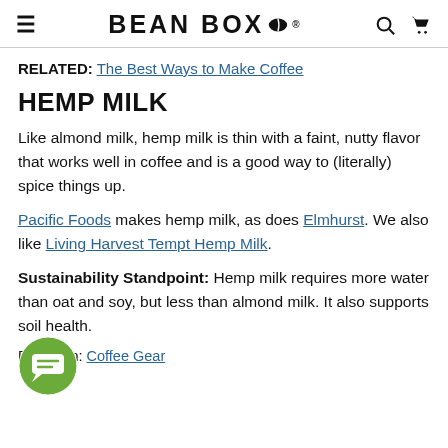BEAN BOX
RELATED: The Best Ways to Make Coffee
HEMP MILK
Like almond milk, hemp milk is thin with a faint, nutty flavor that works well in coffee and is a good way to (literally) spice things up.
Pacific Foods makes hemp milk, as does Elmhurst. We also like Living Harvest Tempt Hemp Milk.
Sustainability Standpoint: Hemp milk requires more water than oat and soy, but less than almond milk. It also supports soil health.
Posted in: Coffee Gear